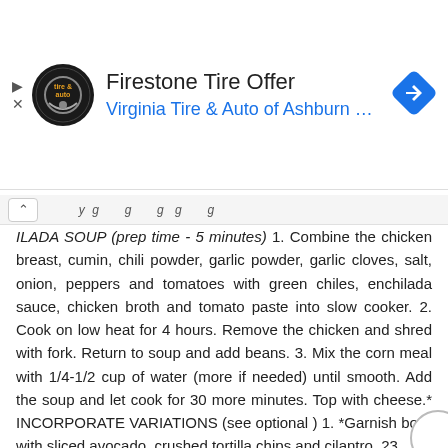[Figure (other): Advertisement banner for Firestone Tire Offer by Virginia Tire & Auto of Ashburn with logo and navigation arrow icon]
ILADA SOUP (prep time - 5 minutes) 1. Combine the chicken breast, cumin, chili powder, garlic powder, garlic cloves, salt, onion, peppers and tomatoes with green chiles, enchilada sauce, chicken broth and tomato paste into slow cooker. 2. Cook on low heat for 4 hours. Remove the chicken and shred with fork. Return to soup and add beans. 3. Mix the corn meal with 1/4-1/2 cup of water (more if needed) until smooth. Add the soup and let cook for 30 more minutes. Top with cheese.* INCORPORATE VARIATIONS (see optional ) 1. *Garnish bowl with sliced avocado, crushed tortilla chips and cilantro. 23
24 SALADS
25 GRAPE, AVOCADO & ARUGULA SALAD SALAD 6 cups fresh arugula 2 cups red or green seedless grapes, halved 1 avocado, pitted and diced 1/2 cup goat cheese,